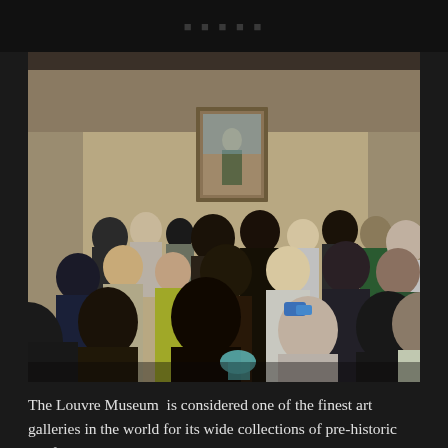[Figure (photo): Crowd of tourists at the Louvre Museum photographing the Mona Lisa painting on the wall in the background. Many people are holding up cameras and phones. The painting is visible in a gold frame on a beige wall in the upper center of the image.]
The Louvre Museum is considered one of the finest art galleries in the world for its wide collections of pre-historic artefacts to 18th century masterpieces. We went in and I got to see the Mona Lisa and it was